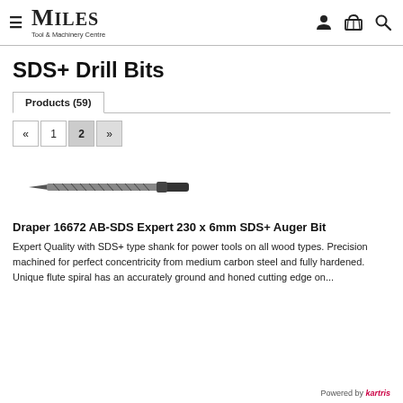Miles Tool & Machinery Centre
SDS+ Drill Bits
Products (59)
« 1 2 »
[Figure (photo): A long spiral SDS+ auger drill bit shown horizontally against white background]
Draper 16672 AB-SDS Expert 230 x 6mm SDS+ Auger Bit
Expert Quality with SDS+ type shank for power tools on all wood types. Precision machined for perfect concentricity from medium carbon steel and fully hardened. Unique flute spiral has an accurately ground and honed cutting edge on...
Powered by kartris